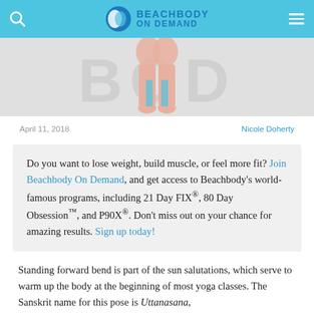Beachbody On Demand
[Figure (photo): Hero image showing feet/ankles in a yoga forward bend pose, with large gray letters 'BOD' in background on light gray background]
April 11, 2018    Nicole Doherty
Do you want to lose weight, build muscle, or feel more fit? Join Beachbody On Demand, and get access to Beachbody’s world-famous programs, including 21 Day FIX®, 80 Day Obsession™, and P90X®. Don’t miss out on your chance for amazing results. Sign up today!
Standing forward bend is part of the sun salutations, which serve to warm up the body at the beginning of most yoga classes. The Sanskrit name for this pose is Uttanasana,